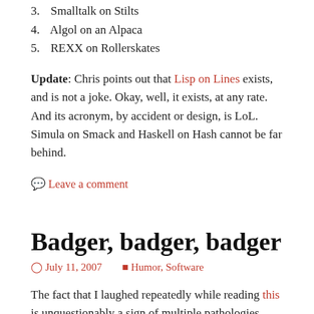3. Smalltalk on Stilts
4. Algol on an Alpaca
5. REXX on Rollerskates
Update: Chris points out that Lisp on Lines exists, and is not a joke. Okay, well, it exists, at any rate. And its acronym, by accident or design, is LoL. Simula on Smack and Haskell on Hash cannot be far behind.
Leave a comment
Badger, badger, badger
July 11, 2007    Humor, Software
The fact that I laughed repeatedly while reading this is unquestionably a sign of multiple pathologies, including but not limited to haunting memories of one from-scratch